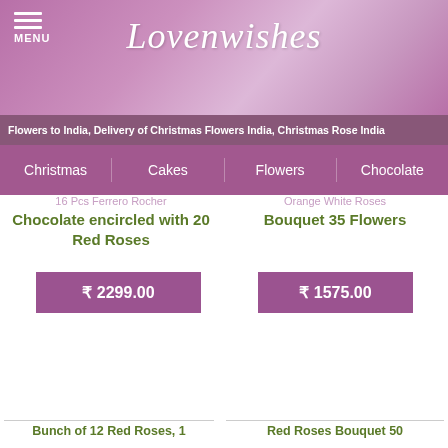Lovenwishes — MENU
Flowers to India, Delivery of Christmas Flowers India, Christmas Rose India
Christmas | Cakes | Flowers | Chocolate
16 Pcs Ferrero Rocher
Chocolate encircled with 20 Red Roses
₹ 2299.00
Orange White Roses
Bouquet 35 Flowers
₹ 1575.00
Bunch of 12 Red Roses, 1
Red Roses Bouquet 50